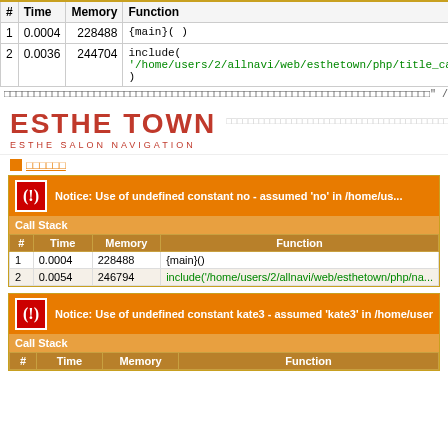| # | Time | Memory | Function | Location |
| --- | --- | --- | --- | --- |
| 1 | 0.0004 | 228488 | {main}( ) | .../category_area.p... |
| 2 | 0.0036 | 244704 | include(
'/home/users/2/allnavi/web/esthetown/php/title_category2.php'
) | .../category_area.p... |
" />
[Figure (logo): ESTHE TOWN - ESTHE SALON NAVIGATION logo in red with Japanese text]
日本語テキスト（ナビゲーション）
Notice: Use of undefined constant no - assumed 'no' in /home/us...
Call Stack
| # | Time | Memory | Function |
| --- | --- | --- | --- |
| 1 | 0.0004 | 228488 | {main}() |
| 2 | 0.0054 | 246794 | include('/home/users/2/allnavi/web/esthetown/php/na... |
Notice: Use of undefined constant kate3 - assumed 'kate3' in /home/users/2/al...
Call Stack
| # | Time | Memory | Function |
| --- | --- | --- | --- |